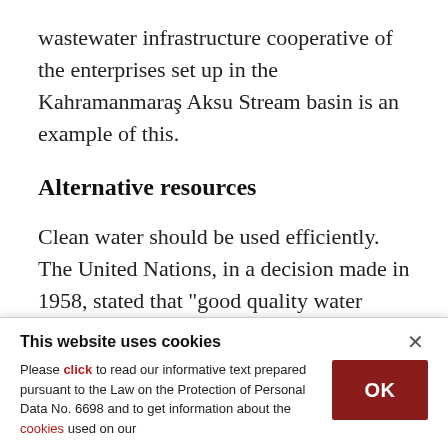wastewater infrastructure cooperative of the enterprises set up in the Kahramanmaraş Aksu Stream basin is an example of this.
Alternative resources
Clean water should be used efficiently. The United Nations, in a decision made in 1958, stated that "good quality water should not be used for purposes where lower quality water is sufficient unless there is more."
This website uses cookies
Please click to read our informative text prepared pursuant to the Law on the Protection of Personal Data No. 6698 and to get information about the cookies used on our